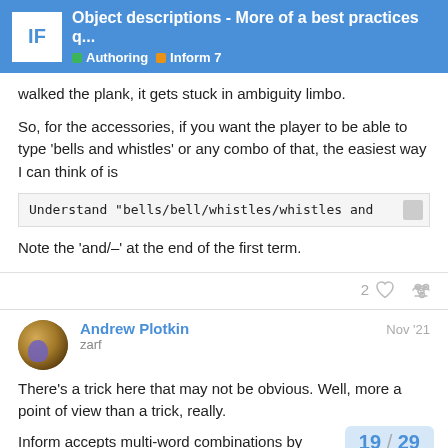IF - Object descriptions - More of a best practices q... | Authoring | Inform 7
walked the plank, it gets stuck in ambiguity limbo.
So, for the accessories, if you want the player to be able to type 'bells and whistles' or any combo of that, the easiest way I can think of is
Understand "bells/bell/whistles/whistles and
Note the 'and/–' at the end of the first term.
2
Andrew Plotkin zarf Nov '21
There's a trick here that may not be obvious. Well, more a point of view than a trick, really.
Inform accepts multi-word combinations by
19 / 29